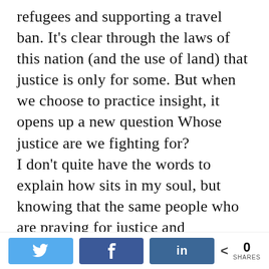refugees and supporting a travel ban. It's clear through the laws of this nation (and the use of land) that justice is only for some. But when we choose to practice insight, it opens up a new question Whose justice are we fighting for?
I don't quite have the words to explain how sits in my soul, but knowing that the same people who are praying for justice and promoting progress are the ones who subjugate those who don't
[Figure (screenshot): Social media share bar with Twitter, Facebook, and LinkedIn buttons, and a share count of 0]